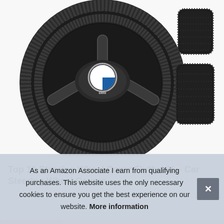[Figure (photo): A black fluffy steering wheel cover on a BMW steering wheel, with two smaller black fluffy car seat belt or armrest covers shown in the upper right corner against a white background.]
Top 10 Steering Wheel Cover Fluffy UK – Car Steering Wheel Covers
As an Amazon Associate I earn from qualifying purchases. This website uses the only necessary cookies to ensure you get the best experience on our website. More information